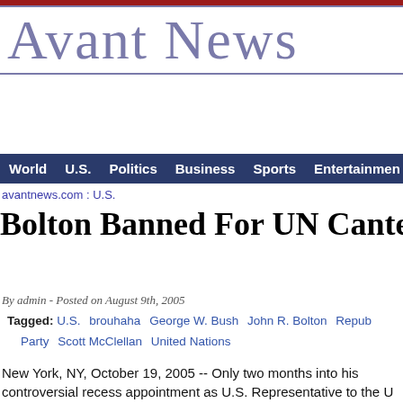Avant News
World  U.S.  Politics  Business  Sports  Entertainment
avantnews.com : U.S.
Bolton Banned For UN Canteen Bra
By admin - Posted on August 9th, 2005
Tagged: U.S.  brouhaha  George W. Bush  John R. Bolton  Republican Party  Scott McClellan  United Nations
New York, NY, October 19, 2005 -- Only two months into his controversial recess appointment as U.S. Representative to the U